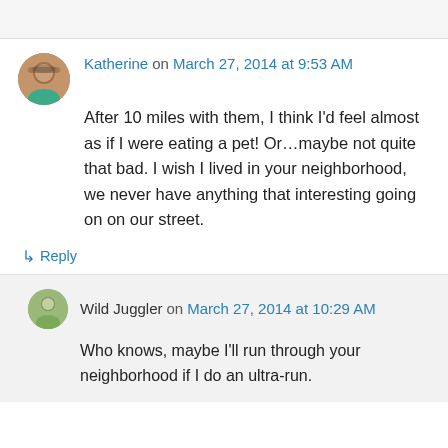Katherine on March 27, 2014 at 9:53 AM
After 10 miles with them, I think I'd feel almost as if I were eating a pet! Or…maybe not quite that bad. I wish I lived in your neighborhood, we never have anything that interesting going on on our street.
↳ Reply
Wild Juggler on March 27, 2014 at 10:29 AM
Who knows, maybe I'll run through your neighborhood if I do an ultra-run.